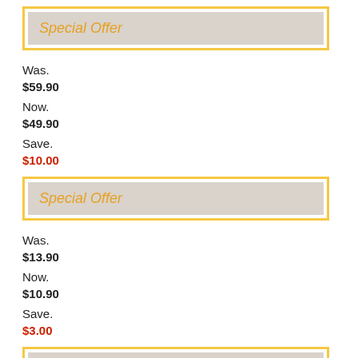Special Offer
Was.
$59.90
Now.
$49.90
Save.
$10.00
Special Offer
Was.
$13.90
Now.
$10.90
Save.
$3.00
Special Offer